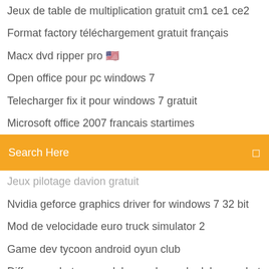Jeux de table de multiplication gratuit cm1 ce1 ce2
Format factory téléchargement gratuit français
Macx dvd ripper pro 무료
Open office pour pc windows 7
Telecharger fix it pour windows 7 gratuit
Microsoft office 2007 francais startimes
Search Here
Jeux pilotage davion gratuit
Nvidia geforce graphics driver for windows 7 32 bit
Mod de velocidade euro truck simulator 2
Game dev tycoon android oyun club
Difference between adobe reader and adobe acrobat reader dc
Télécharger system image backup windows 10
Call of duty infinite warfare review
Juegos de pistolas online en español
Paint shop pro gratuit version
Supprimer les suggestions recherche facebook